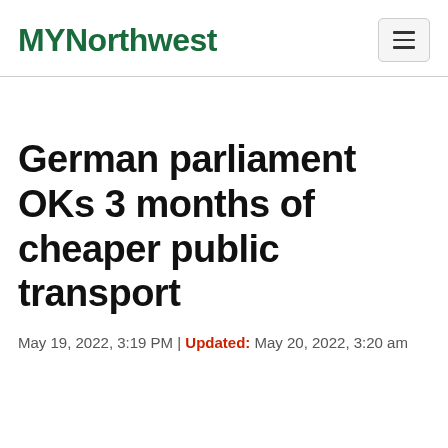MYNorthwest
German parliament OKs 3 months of cheaper public transport
May 19, 2022, 3:19 PM | Updated: May 20, 2022, 3:20 am